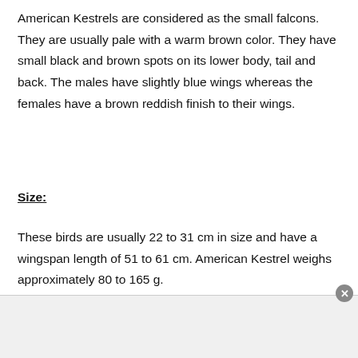American Kestrels are considered as the small falcons. They are usually pale with a warm brown color. They have small black and brown spots on its lower body, tail and back. The males have slightly blue wings whereas the females have a brown reddish finish to their wings.
Size:
These birds are usually 22 to 31 cm in size and have a wingspan length of 51 to 61 cm. American Kestrel weighs approximately 80 to 165 g.